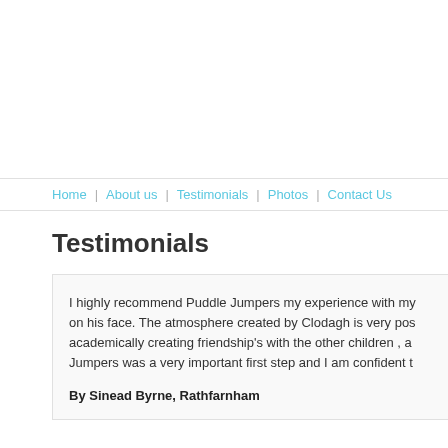Home | About us | Testimonials | Photos | Contact Us
Testimonials
I highly recommend Puddle Jumpers my experience with my on his face. The atmosphere created by Clodagh is very pos academically creating friendship's with the other children , a Jumpers was a very important first step and I am confident t
By Sinead Byrne, Rathfarnham